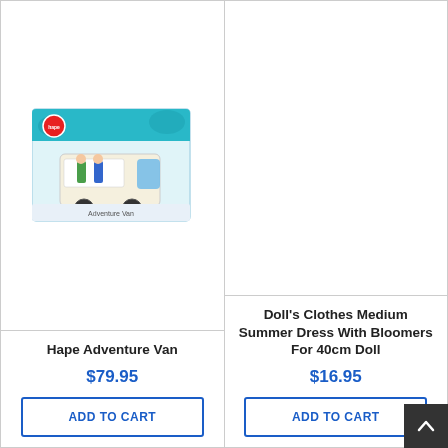[Figure (photo): Product photo of Hape Adventure Van toy in box - colorful van playset with figurines and surfer graphics]
Hape Adventure Van
$79.95
ADD TO CART
[Figure (photo): Empty product image area for Doll's Clothes Medium Summer Dress With Bloomers For 40cm Doll]
Doll's Clothes Medium Summer Dress With Bloomers For 40cm Doll
$16.95
ADD TO CART